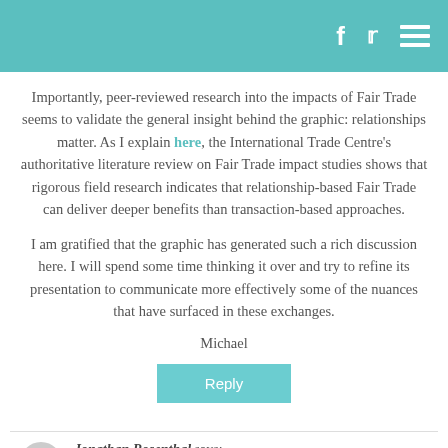Importantly, peer-reviewed research into the impacts of Fair Trade seems to validate the general insight behind the graphic: relationships matter. As I explain here, the International Trade Centre's authoritative literature review on Fair Trade impact studies shows that rigorous field research indicates that relationship-based Fair Trade can deliver deeper benefits than transaction-based approaches.
I am gratified that the graphic has generated such a rich discussion here. I will spend some time thinking it over and try to refine its presentation to communicate more effectively some of the nuances that have surfaced in these exchanges.
Michael
Reply
Jonathan Rosenthal says: